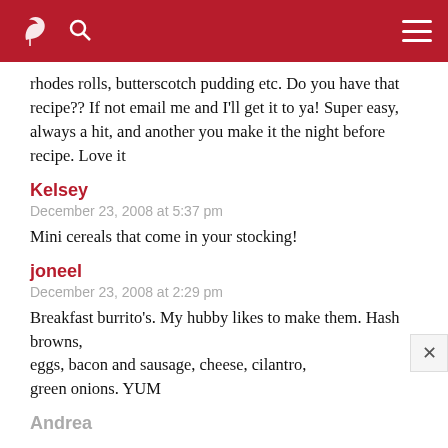[site header with bird logo, search icon, menu icon]
rhodes rolls, butterscotch pudding etc. Do you have that recipe?? If not email me and I'll get it to ya! Super easy, always a hit, and another you make it the night before recipe. Love it
Kelsey
December 23, 2008 at 5:37 pm
Mini cereals that come in your stocking!
joneel
December 23, 2008 at 2:29 pm
Breakfast burrito's. My hubby likes to make them. Hash browns, eggs, bacon and sausage, cheese, cilantro, green onions. YUM
Andrea